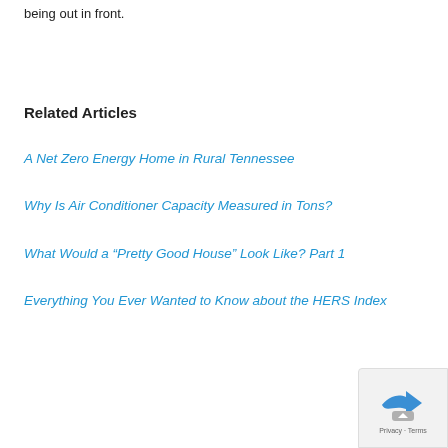being out in front.
Related Articles
A Net Zero Energy Home in Rural Tennessee
Why Is Air Conditioner Capacity Measured in Tons?
What Would a “Pretty Good House” Look Like? Part 1
Everything You Ever Wanted to Know about the HERS Index